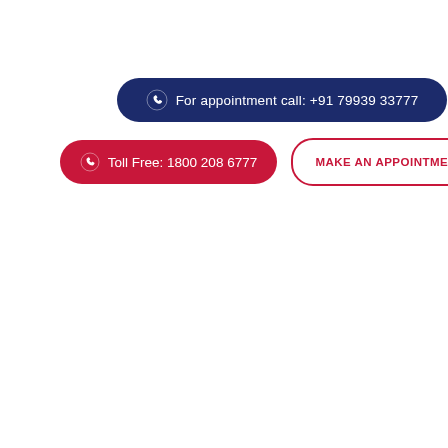For appointment call: +91 79939 33777
Toll Free: 1800 208 6777
MAKE AN APPOINTMENT